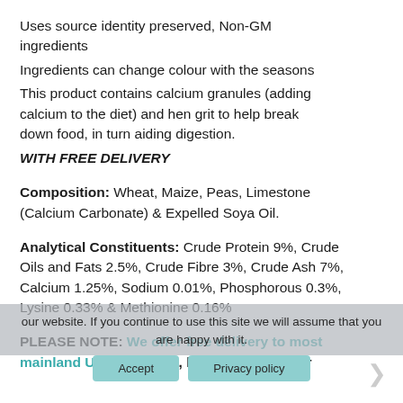Uses source identity preserved, Non-GM ingredients
Ingredients can change colour with the seasons
This product contains calcium granules (adding calcium to the diet) and hen grit to help break down food, in turn aiding digestion.
WITH FREE DELIVERY
Composition: Wheat, Maize, Peas, Limestone (Calcium Carbonate) & Expelled Soya Oil.
Analytical Constituents: Crude Protein 9%, Crude Oils and Fats 2.5%, Crude Fibre 3%, Crude Ash 7%, Calcium 1.25%, Sodium 0.01%, Phosphorous 0.3%, Lysine 0.33% & Methionine 0.16%
PLEASE NOTE: We offer free delivery to most mainland UK postcodes, but we do not offer